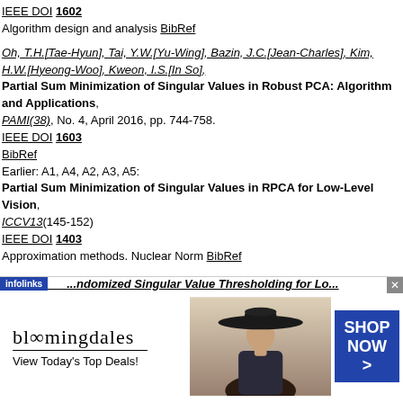IEEE DOI 1602
Algorithm design and analysis BibRef
Oh, T.H.[Tae-Hyun], Tai, Y.W.[Yu-Wing], Bazin, J.C.[Jean-Charles], Kim, H.W.[Hyeong-Woo], Kweon, I.S.[In So], Partial Sum Minimization of Singular Values in Robust PCA: Algorithm and Applications, PAMI(38), No. 4, April 2016, pp. 744-758. IEEE DOI 1603 BibRef Earlier: A1, A4, A2, A3, A5: Partial Sum Minimization of Singular Values in RPCA for Low-Level Vision, ICCV13(145-152) IEEE DOI 1403 Approximation methods. Nuclear Norm BibRef
Oh, T.H.[Tae-Hyun], Matsushita, Y.[Yasuyuki], Tai, Y.W.[Yu-Wing], Kweon, I.S.[In So],
...ndomized Singular Value Thresholding for Lo...
[Figure (photo): Bloomingdale's advertisement banner with a woman wearing a large hat and 'SHOP NOW >' button]